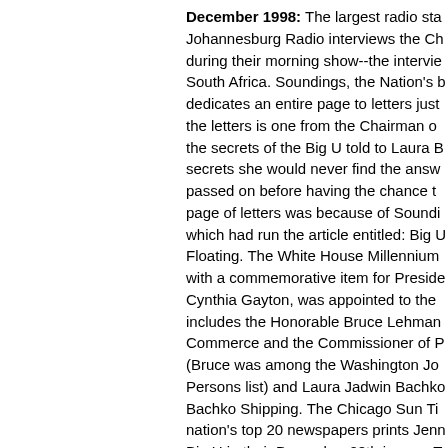December 1998: The largest radio sta Johannesburg Radio interviews the Ch during their morning show--the intervie South Africa. Soundings, the Nation's b dedicates an entire page to letters just the letters is one from the Chairman of the secrets of the Big U told to Laura B secrets she would never find the answ passed on before having the chance to page of letters was because of Soundi which had run the article entitled: Big U Floating. The White House Millennium with a commemorative item for Preside Cynthia Gayton, was appointed to the includes the Honorable Bruce Lehman Commerce and the Commissioner of P (Bruce was among the Washington Jo Persons list) and Laura Jadwin Bachko Bachko Shipping. The Chicago Sun Ti nation's top 20 newspapers prints Jenn Big U in their December 28th issues. T The Philadelphia Daily Press, The Det Baltimore Sun.
January 1999: WKOI in Detroit, a radi